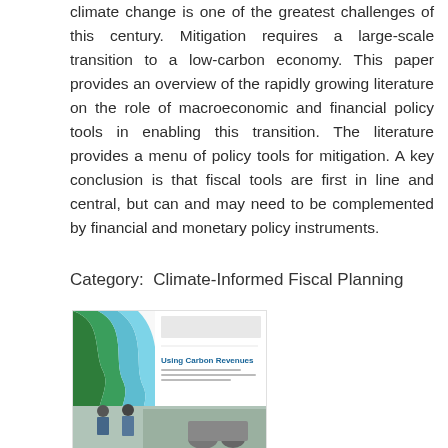climate change is one of the greatest challenges of this century. Mitigation requires a large-scale transition to a low-carbon economy. This paper provides an overview of the rapidly growing literature on the role of macroeconomic and financial policy tools in enabling this transition. The literature provides a menu of policy tools for mitigation. A key conclusion is that fiscal tools are first in line and central, but can and may need to be complemented by financial and monetary policy instruments.
Category:  Climate-Informed Fiscal Planning
[Figure (illustration): Book cover of a document titled 'Using Carbon Revenues' with a teal/green wave design on the left side and a photo of workers at the bottom]